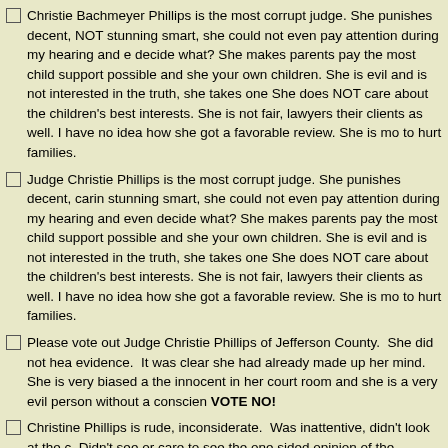Christie Bachmeyer Phillips is the most corrupt judge. She punishes decent, NOT stunning smart, she could not even pay attention during my hearing and even decide what? She makes parents pay the most child support possible and she c your own children. She is evil and is not interested in the truth, she takes one si She does NOT care about the children's best interests. She is not fair, lawyers h their clients as well. I have no idea how she got a favorable review. She is mora to hurt families.
Judge Christie Phillips is the most corrupt judge. She punishes decent, carin stunning smart, she could not even pay attention during my hearing and even sa decide what? She makes parents pay the most child support possible and she c your own children. She is evil and is not interested in the truth, she takes one si She does NOT care about the children's best interests. She is not fair, lawyers h their clients as well. I have no idea how she got a favorable review. She is mora to hurt families.
Please vote out Judge Christie Phillips of Jefferson County. She did not hea evidence. It was clear she had already made up her mind. She is very biased a the innocent in her court room and she is a very evil person without a conscienc VOTE NO!
Christine Phillips is rude, inconsiderate. Was inattentive, didn't look at the ca Didn't see or care to see the one sided opinion of the "professional" with his ow against one side and continued to seemingly be in-compassionate towards the t parties who come before her. Everyone loses, the only people who win are the e happy to the compromise she sets up and they then must return to court to try a tape, corruption.